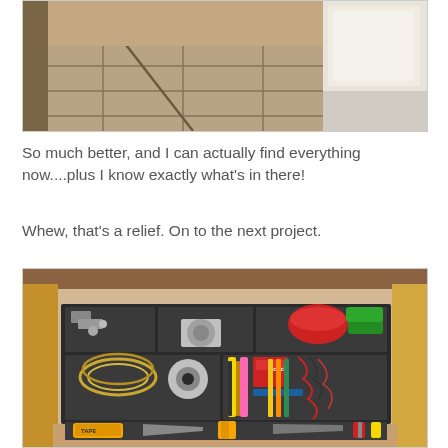[Figure (photo): Top portion of a photo showing a kitchen floor with tile flooring and what appears to be a white appliance or container on the right side.]
So much better, and I can actually find everything now....plus I know exactly what's in there!
Whew, that's a relief. On to the next project.
[Figure (photo): An organized kitchen junk drawer with dividers/organizer insert, containing rubber bands, tape, scissors, markers, pens, pencils, tools including a tape measure, glue, screwdrivers, and various other household items neatly arranged in compartments.]